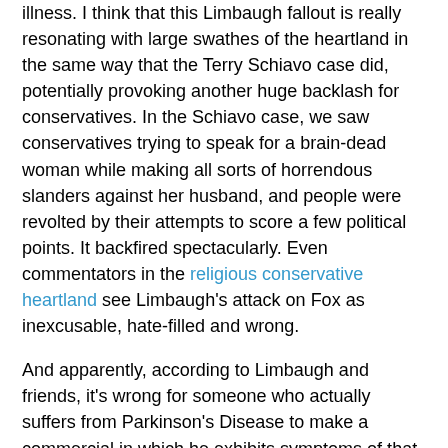illness. I think that this Limbaugh fallout is really resonating with large swathes of the heartland in the same way that the Terry Schiavo case did, potentially provoking another huge backlash for conservatives. In the Schiavo case, we saw conservatives trying to speak for a brain-dead woman while making all sorts of horrendous slanders against her husband, and people were revolted by their attempts to score a few political points. It backfired spectacularly. Even commentators in the religious conservative heartland see Limbaugh's attack on Fox as inexcusable, hate-filled and wrong.
And apparently, according to Limbaugh and friends, it's wrong for someone who actually suffers from Parkinson's Disease to make a commercial in which he exhibits symptoms of that disease, but a rebuttal ad featuring a sitcom start, an NFL player and an actor who played Jesus is to be lauded. At least Jonah and some others have some sense about them, it seems. Mind-bogglingly, Caviezel is apparently saying "you betray me with a kiss" (if you support this amendment). Kathryn thinks that the ad is "cool" and "subtle." Yeah, having a fake Jesus warning voters not to betray him is very, very subtle.